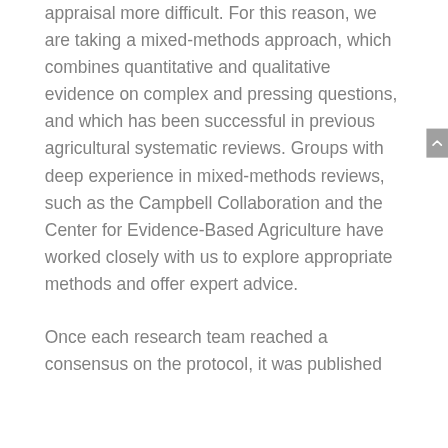appraisal more difficult. For this reason, we are taking a mixed-methods approach, which combines quantitative and qualitative evidence on complex and pressing questions, and which has been successful in previous agricultural systematic reviews. Groups with deep experience in mixed-methods reviews, such as the Campbell Collaboration and the Center for Evidence-Based Agriculture have worked closely with us to explore appropriate methods and offer expert advice.

Once each research team reached a consensus on the protocol, it was published